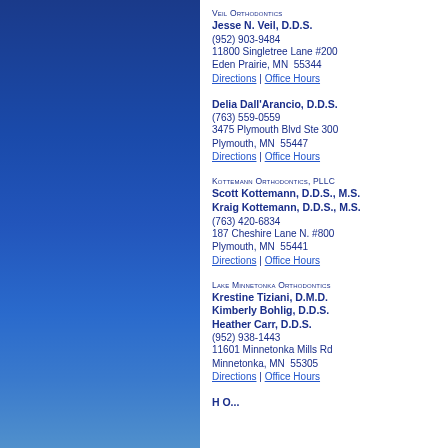Veil Orthodontics
Jesse N. Veil, D.D.S.
(952) 903-9484
11800 Singletree Lane #200
Eden Prairie, MN  55344
Directions | Office Hours
Delia Dall'Arancio, D.D.S.
(763) 559-0559
3475 Plymouth Blvd Ste 300
Plymouth, MN  55447
Directions | Office Hours
Kottemann Orthodontics, PLLC
Scott Kottemann, D.D.S., M.S.
Kraig Kottemann, D.D.S., M.S.
(763) 420-6834
187 Cheshire Lane N. #800
Plymouth, MN  55441
Directions | Office Hours
Lake Minnetonka Orthodontics
Krestine Tiziani, D.M.D.
Kimberly Bohlig, D.D.S.
Heather Carr, D.D.S.
(952) 938-1443
11601 Minnetonka Mills Rd
Minnetonka, MN  55305
Directions | Office Hours
H... O...